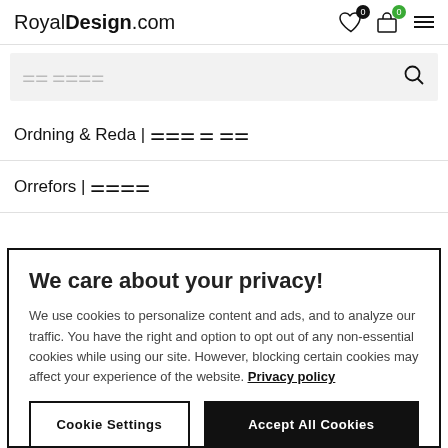RoyalDesign.com
[search bar with placeholder text]
Ordning & Reda | [corrupted text]
Orrefors | [corrupted text]
We care about your privacy!
We use cookies to personalize content and ads, and to analyze our traffic. You have the right and option to opt out of any non-essential cookies while using our site. However, blocking certain cookies may affect your experience of the website. Privacy policy
Cookie Settings | Accept All Cookies